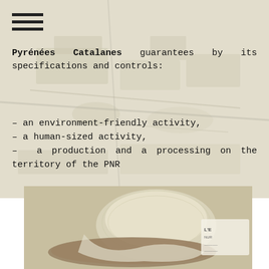[Figure (photo): Aerial view of a town or village in Pyrénées Catalanes region, shown as a faded background image]
Pyrénées Catalanes guarantees by its specifications and controls:
- an environment-friendly activity,
- a human-sized activity,
– a production and a processing on the territory of the PNR
[Figure (photo): Close-up photo of a cheese wrapped in cloth/gauze on a wooden board, with text label visible in background]